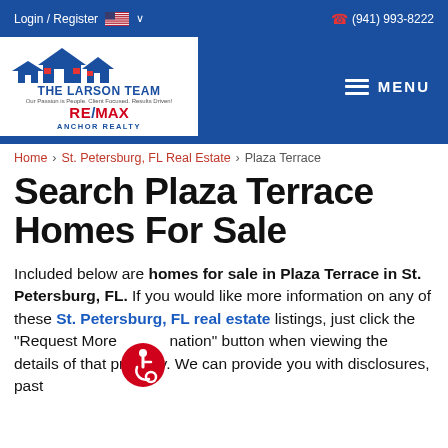Login / Register  (941) 993-8222
[Figure (logo): The Larson Team RE/MAX Anchor Realty logo with house icons]
Home > St. Petersburg, FL Real Estate > Plaza Terrace
Search Plaza Terrace Homes For Sale
Included below are homes for sale in Plaza Terrace in St. Petersburg, FL. If you would like more information on any of these St. Petersburg, FL real estate listings, just click the "Request More Information" button when viewing the details of that property. We can provide you with disclosures, past